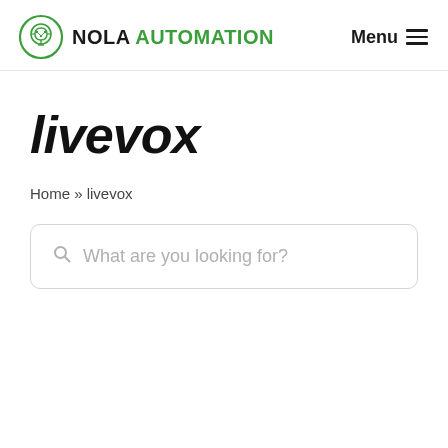NOLA AUTOMATION  Menu
livevox
Home » livevox
What are you looking for?